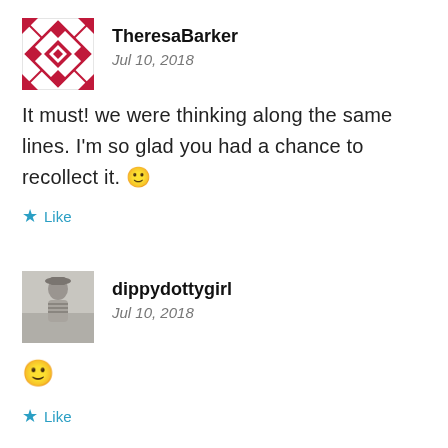[Figure (illustration): TheresaBarker avatar: red/crimson geometric diamond/quilt pattern icon]
TheresaBarker
Jul 10, 2018
It must! we were thinking along the same lines. I'm so glad you had a chance to recollect it. 🙂
★ Like
[Figure (photo): dippydottygirl avatar: black and white photo of a young girl]
dippydottygirl
Jul 10, 2018
🙂
★ Like